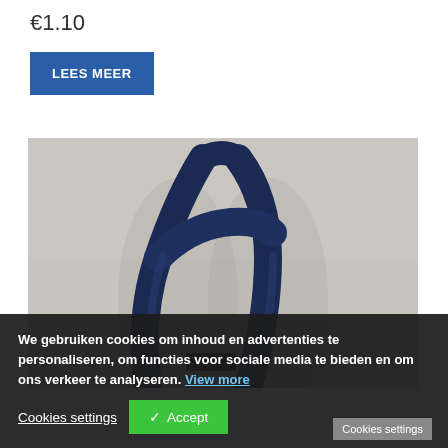€1.10
LEES MEER
[Figure (photo): Navy blue lanyard/strap crossing over itself with a black buckle at the bottom, photographed against a light grey background.]
We gebruiken cookies om inhoud en advertenties te personaliseren, om functies voor sociale media te bieden en om ons verkeer te analyseren. View more
Cookies settings
✓ Accept
Cookies settings